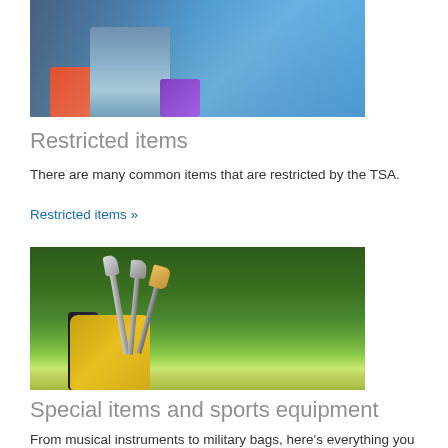[Figure (photo): Person with luggage at an airport, blue background]
Restricted items
There are many common items that are restricted by the TSA.
Restricted items »
[Figure (photo): Golf clubs in a yellow and black bag on a green golf course]
Special items and sports equipment
From musical instruments to military bags, here's everything you need to know.